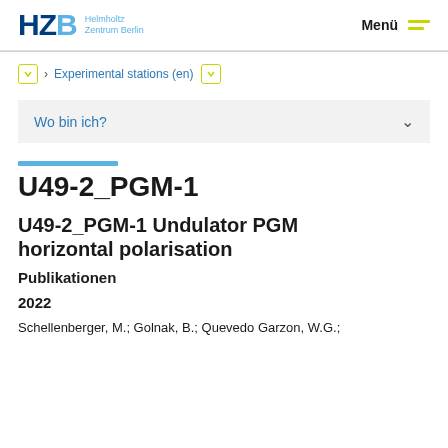HZB Helmholtz Zentrum Berlin | Menü
› Experimental stations (en)
Wo bin ich?
U49-2_PGM-1
U49-2_PGM-1 Undulator PGM horizontal polarisation
Publikationen
2022
Schellenberger, M.; Golnak, B.; Quevedo Garzon, W.G.; ...